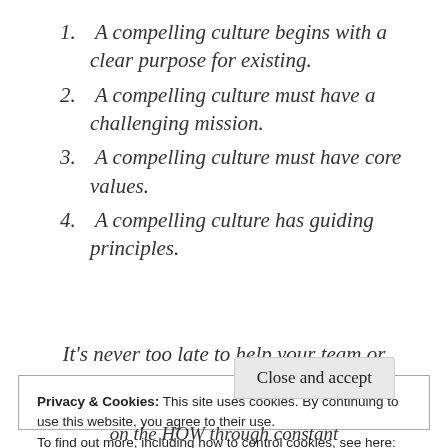1. A compelling culture begins with a clear purpose for existing.
2. A compelling culture must have a challenging mission.
3. A compelling culture must have core values.
4. A compelling culture has guiding principles.
It's never too late to help your team or
Privacy & Cookies: This site uses cookies. By continuing to use this website, you agree to their use. To find out more, including how to control cookies, see here: Cookie Policy
Close and accept
on the HOW through constant